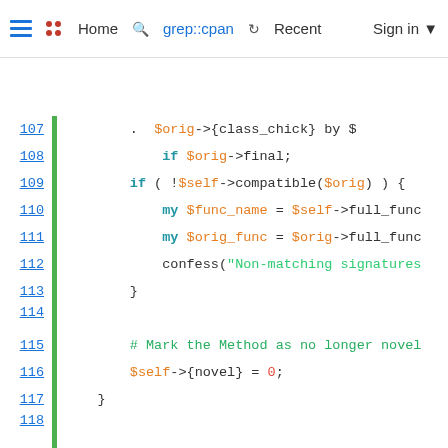Home  grep::cpan  Recent  Sign in
[Figure (screenshot): Perl source code viewer showing lines 107-133 with syntax highlighting. Line numbers in blue on left, green vertical bar, code with keywords in teal/blue, variables in orange, strings in green, comments in green.]